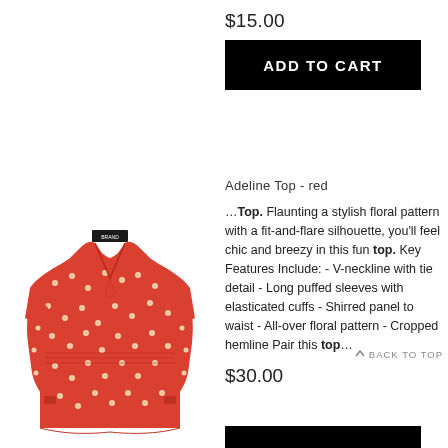Relaxed fit - Hip length...
$15.00
ADD TO CART
[Figure (photo): Red floral patterned Adeline Top blouse with long puffed sleeves and V-neckline with tie detail]
Adeline Top - red
…Top. Flaunting a stylish floral pattern with a fit-and-flare silhouette, you'll feel chic and breezy in this fun top. Key Features Include: - V-neckline with tie detail - Long puffed sleeves with elasticated cuffs - Shirred panel to waist - All-over floral pattern - Cropped hemline Pair this top…
$30.00